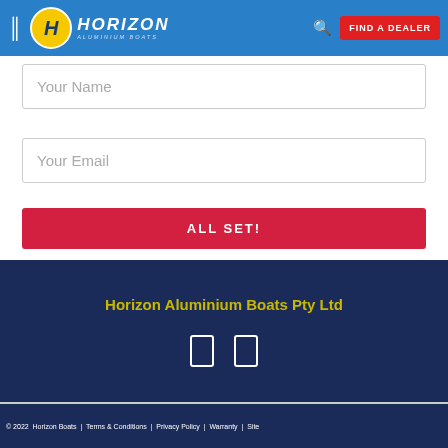Horizon Aluminium Boats - FIND A DEALER
Your Name
Your Email
ALL SET!
Horizon Aluminium Boats Pty Ltd
© 2022  Horizon Boats  |  Terms & Conditions  |  Privacy Policy  |  Warranty  |  Site